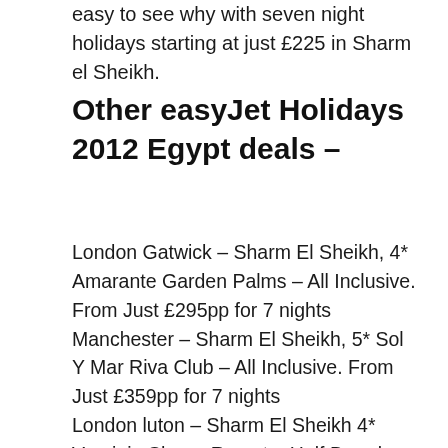easy to see why with seven night holidays starting at just £225 in Sharm el Sheikh.
Other easyJet Holidays 2012 Egypt deals –
London Gatwick – Sharm El Sheikh, 4* Amarante Garden Palms – All Inclusive. From Just £295pp for 7 nights
Manchester – Sharm El Sheikh, 5* Sol Y Mar Riva Club – All Inclusive. From Just £359pp for 7 nights
London luton – Sharm El Sheikh 4* Verginia Sharm Resort – Half Board. From just £256.50pp for 7 nights